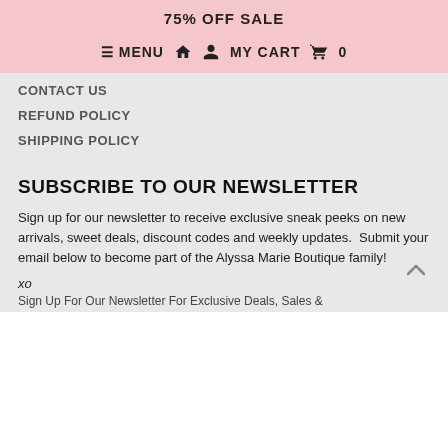75% OFF SALE
≡ MENU 🏠 👤 MY CART 🛒 0
CONTACT US
REFUND POLICY
SHIPPING POLICY
SUBSCRIBE TO OUR NEWSLETTER
Sign up for our newsletter to receive exclusive sneak peeks on new arrivals, sweet deals, discount codes and weekly updates.  Submit your email below to become part of the Alyssa Marie Boutique family!
xo
Alyssa Marie~
Sign Up For Our Newsletter For Exclusive Deals, Sales &